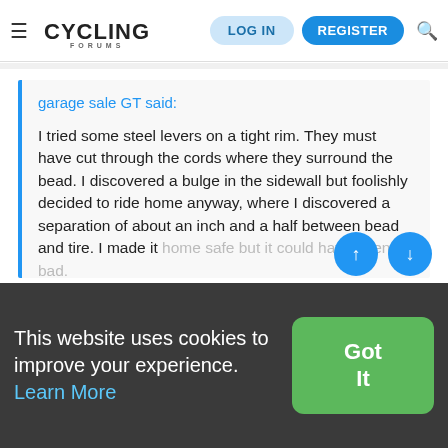≡ CYCLING FORUMS | LOG IN | REGISTER | 🔍
garage sale GT said:

I tried some steel levers on a tight rim. They must have cut through the cords where they surround the bead. I discovered a bulge in the sidewall but foolishly decided to ride home anyway, where I discovered a separation of about an inch and a half between bead and tire. I made it home safe but it could have been bad.

Click to expand...
This website uses cookies to improve your experience. Learn More
Got It